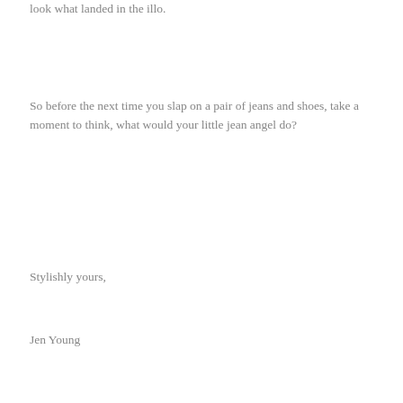look what landed in the illo.
So before the next time you slap on a pair of jeans and shoes, take a moment to think, what would your little jean angel do?
Stylishly yours,
Jen Young